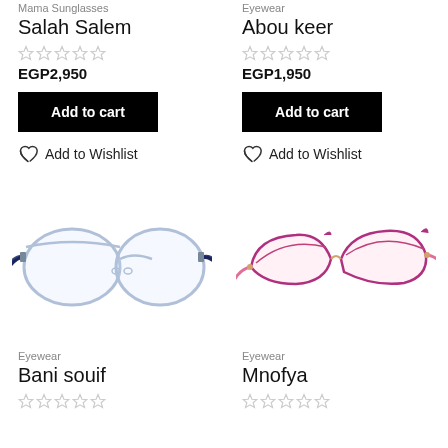Mama Sunglasses
Salah Salem
★★★★★ (0 ratings)
EGP2,950
Add to cart
Add to Wishlist
Eyewear
Abou keer
★★★★★ (0 ratings)
EGP1,950
Add to cart
Add to Wishlist
[Figure (photo): Clear/transparent aviator-style eyeglasses with dark blue temples]
[Figure (photo): Pink/magenta cat-eye metal eyeglasses with rose gold accents]
Eyewear
Bani souif
★★★★★
Eyewear
Mnofya
★★★★★